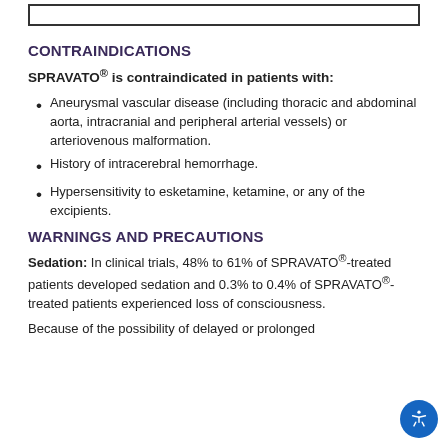CONTRAINDICATIONS
SPRAVATO® is contraindicated in patients with:
Aneurysmal vascular disease (including thoracic and abdominal aorta, intracranial and peripheral arterial vessels) or arteriovenous malformation.
History of intracerebral hemorrhage.
Hypersensitivity to esketamine, ketamine, or any of the excipients.
WARNINGS AND PRECAUTIONS
Sedation: In clinical trials, 48% to 61% of SPRAVATO®-treated patients developed sedation and 0.3% to 0.4% of SPRAVATO®-treated patients experienced loss of consciousness.
Because of the possibility of delayed or prolonged